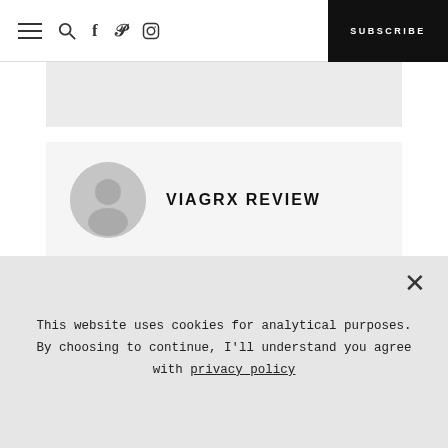SUBSCRIBE
VIAGRX REVIEW
July 29, 2021 at 1:38 am
This website uses cookies for analytical purposes. By choosing to continue, I'll understand you agree with privacy policy